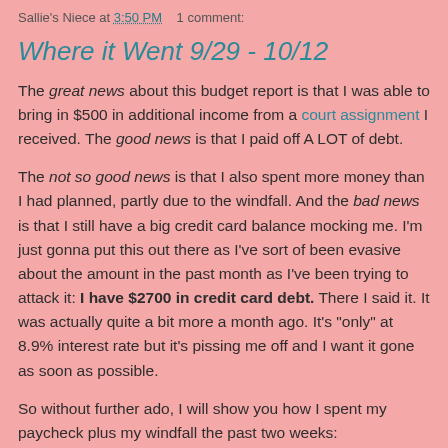Sallie's Niece at 3:50 PM    1 comment:
Where it Went 9/29 - 10/12
The great news about this budget report is that I was able to bring in $500 in additional income from a court assignment I received. The good news is that I paid off A LOT of debt.
The not so good news is that I also spent more money than I had planned, partly due to the windfall. And the bad news is that I still have a big credit card balance mocking me. I'm just gonna put this out there as I've sort of been evasive about the amount in the past month as I've been trying to attack it: I have $2700 in credit card debt. There I said it. It was actually quite a bit more a month ago. It's "only" at 8.9% interest rate but it's pissing me off and I want it gone as soon as possible.
So without further ado, I will show you how I spent my paycheck plus my windfall the past two weeks: